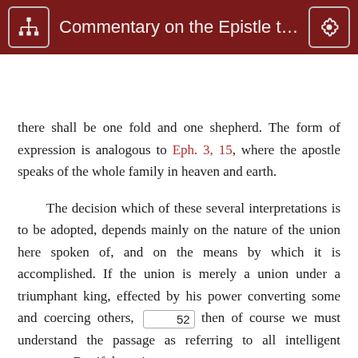Commentary on the Epistle to ...
there shall be one fold and one shepherd. The form of expression is analogous to Eph. 3, 15, where the apostle speaks of the whole family in heaven and earth.

The decision which of these several interpretations is to be adopted, depends mainly on the nature of the union here spoken of, and on the means by which it is accomplished. If the union is merely a union under a triumphant king, effected by his power converting some and coercing others, 52 then of course we must understand the passage as referring to all intelligent creatures. But if the union